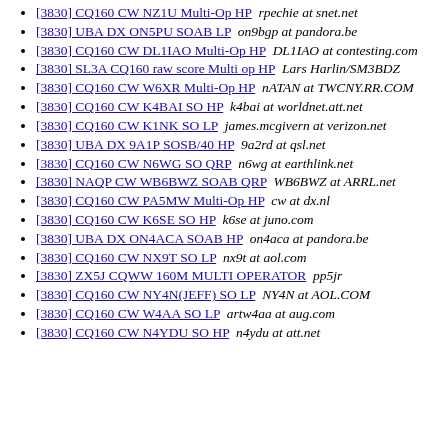[3830] CQ160 CW NZ1U Multi-Op HP  rpechie at snet.net
[3830] UBA DX ON5PU SOAB LP  on9bgp at pandora.be
[3830] CQ160 CW DL1IAO Multi-Op HP  DL1IAO at contesting.com
[3830] SL3A CQ160 raw score Multi op HP  Lars Harlin/SM3BDZ
[3830] CQ160 CW W6XR Multi-Op HP  nATAN at TWCNY.RR.COM
[3830] CQ160 CW K4BAI SO HP  k4bai at worldnet.att.net
[3830] CQ160 CW K1NK SO LP  james.mcgivern at verizon.net
[3830] UBA DX 9A1P SOSB/40 HP  9a2rd at qsl.net
[3830] CQ160 CW N6WG SO QRP  n6wg at earthlink.net
[3830] NAQP CW WB6BWZ SOAB QRP  WB6BWZ at ARRL.net
[3830] CQ160 CW PA5MW Multi-Op HP  cw at dx.nl
[3830] CQ160 CW K6SE SO HP  k6se at juno.com
[3830] UBA DX ON4ACA SOAB HP  on4aca at pandora.be
[3830] CQ160 CW NX9T SO LP  nx9t at aol.com
[3830] ZX5J CQWW 160M MULTI OPERATOR  pp5jr
[3830] CQ160 CW NY4N(JEFF) SO LP  NY4N at AOL.COM
[3830] CQ160 CW W4AA SO LP  artw4aa at aug.com
[3830] CQ160 CW N4YDU SO HP  n4ydu at att.net